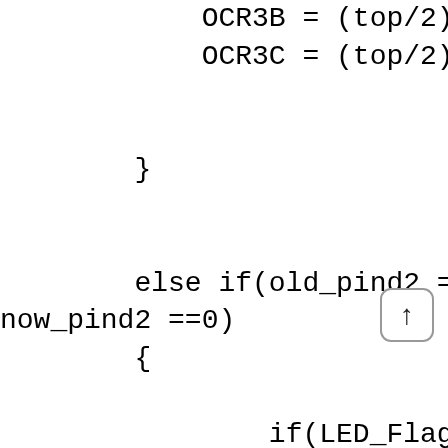OCR3B = (top/2);
            OCR3C = (top/2);

        }

        else if(old_pind2 == 1 &&
now_pind2 ==0)
        {
                if(LED_Flag == 0) //P
WM On
        {